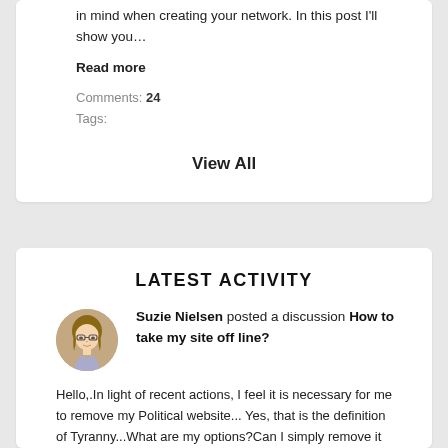in mind when creating your network. In this post I'll show you…
Read more
Comments: 24
Tags:
View All
LATEST ACTIVITY
Suzie Nielsen posted a discussion How to take my site off line?
Hello,.In light of recent actions, I feel it is necessary for me to remove my Political website... Yes, that is the definition of Tyranny...What are my options?Can I simply remove it from view and save all content? or do I have to close it all…